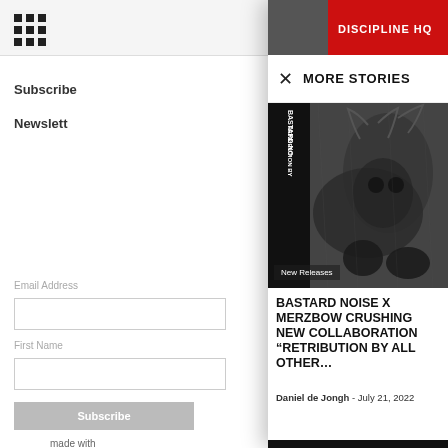[Figure (screenshot): Grid/menu icon (3x3 dots) in top left]
Subscribe
Newslett
Email Address
First Name
Subscribe
made with
MORE STORIES
[Figure (photo): Black and white photo showing Bastard Noise Retribution By album cover with dark forest/antler imagery]
New Releases
BASTARD NOISE X MERZBOW CRUSHING NEW COLLABORATION “RETRIBUTION BY ALL OTHER…
Daniel de Jongh  -  July 21, 2022